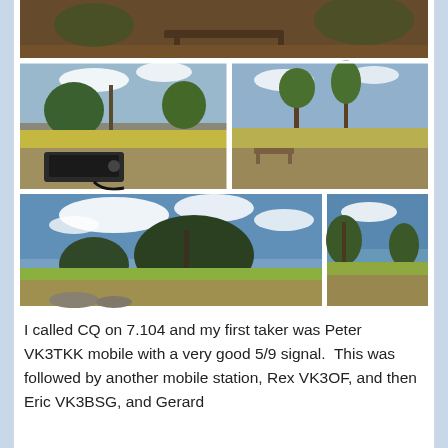[Figure (photo): A collage of 5 outdoor photos showing radio equipment on a car roof, an antenna mast, and panoramic views of an Australian rural landscape with dry grass, scattered eucalyptus trees and blue sky with clouds.]
I called CQ on 7.104 and my first taker was Peter VK3TKK mobile with a very good 5/9 signal.  This was followed by another mobile station, Rex VK3OF, and then Eric VK3BSG, and Gerard